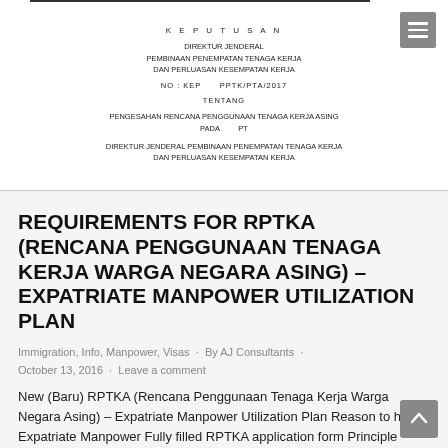[Figure (other): Scanned Indonesian government document header: Keputusan Direktur Jenderal Pembinaan Penempatan Tenaga Kerja Dan Perluasan Kesempatan Kerja, NO: KEP PPTK/PTA/2017, Tentang, Pengesahan Rencana Penggunaan Tenaga Kerja Asing Pada PT, Direktur Jenderal Pembinaan Penempatan Tenaga Kerja Dan Perluasan Kesempatan Kerja]
REQUIREMENTS FOR RPTKA (RENCANA PENGGUNAAN TENAGA KERJA WARGA NEGARA ASING) – EXPATRIATE MANPOWER UTILIZATION PLAN
Immigration, Info, Manpower, Visas · By AJ Consultants · October 13, 2016 · Leave a comment
New (Baru) RPTKA (Rencana Penggunaan Tenaga Kerja Warga Negara Asing) – Expatriate Manpower Utilization Plan Reason to hire Expatriate Manpower Fully filled RPTKA application form Principle License from BKPM (Ijin Prinsip) / Business License from